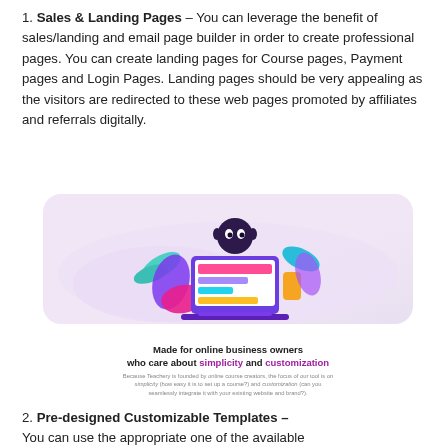1. Sales & Landing Pages – You can leverage the benefit of sales/landing and email page builder in order to create professional pages. You can create landing pages for Course pages, Payment pages and Login Pages. Landing pages should be very appealing as the visitors are redirected to these web pages promoted by affiliates and referrals digitally.
[Figure (illustration): Colorful illustration of a laptop/screen with decorative elements on a purple/pink background wave, showing a UI mockup with colorful blocks]
Made for online business owners who care about simplicity and customization
Because Teachery is founded by online course creators, the focus of our tool is on simplicity (how easy it is to set up a course?) and customization (can you seamlessly integrate it with your existing website and brand?).
2. Pre-designed Customizable Templates – You can use the appropriate one of the available